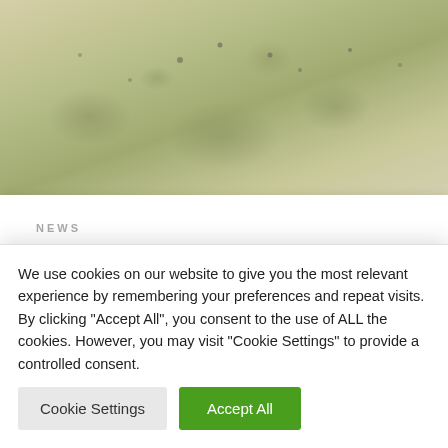[Figure (photo): Landscape photo showing a scenic outdoor area with trees and foliage in muted yellow-green tones, partially visible at the top of the page.]
NEWS
La nostra proposta per il futuro della Rocca
4 commenti
We use cookies on our website to give you the most relevant experience by remembering your preferences and repeat visits. By clicking "Accept All", you consent to the use of ALL the cookies. However, you may visit "Cookie Settings" to provide a controlled consent.